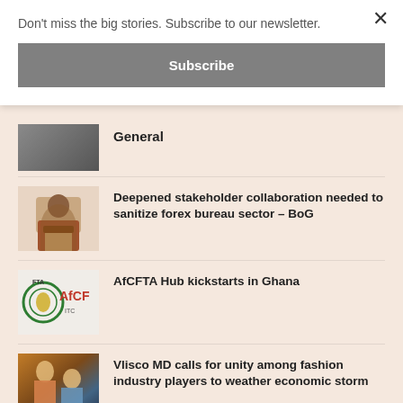Don't miss the big stories. Subscribe to our newsletter.
Subscribe
General
Deepened stakeholder collaboration needed to sanitize forex bureau sector – BoG
AfCFTA Hub kickstarts in Ghana
Vlisco MD calls for unity among fashion industry players to weather economic storm
Ghana Nigeria Business and Investment Conference to attract funding from di…